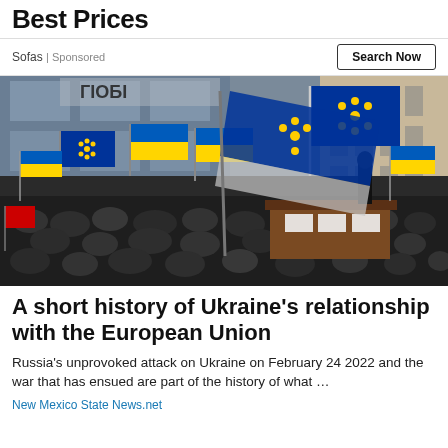Best Prices
Sofas | Sponsored
Search Now
[Figure (photo): A large crowd of protesters in a city square waving Ukrainian and EU flags. A person stands on a rooftop holding a large EU flag. Buildings with Cyrillic text visible in background.]
A short history of Ukraine's relationship with the European Union
Russia's unprovoked attack on Ukraine on February 24 2022 and the war that has ensued are part of the history of what …
New Mexico State News.net